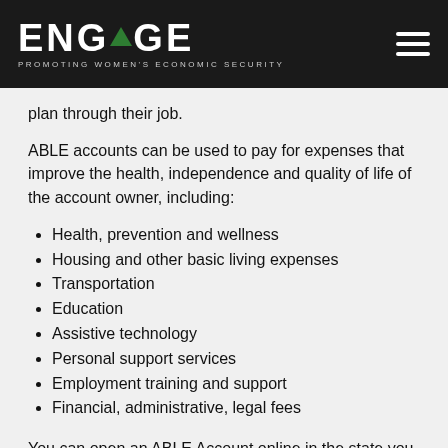ENGAGE — PROMOTING WOMEN'S ECONOMIC SECURITY
plan through their job.
ABLE accounts can be used to pay for expenses that improve the health, independence and quality of life of the account owner, including:
Health, prevention and wellness
Housing and other basic living expenses
Transportation
Education
Assistive technology
Personal support services
Employment training and support
Financial, administrative, legal fees
You can open an ABLE Account online in the state you live in or through any state who offers a